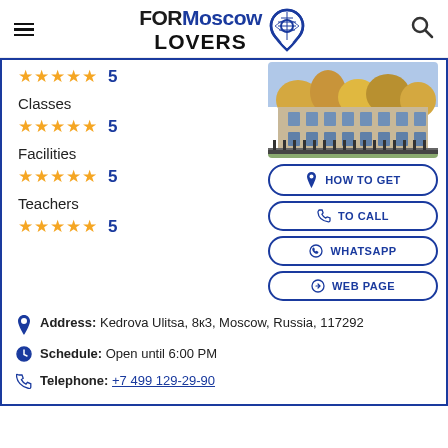FORMoscow LOVERS
★★★★★ 5
Classes
★★★★★ 5
Facilities
★★★★★ 5
Teachers
★★★★★ 5
[Figure (photo): Outdoor photo of a school or building with trees in autumn foliage]
HOW TO GET
TO CALL
WHATSAPP
WEB PAGE
Address: Kedrova Ulitsa, 8к3, Moscow, Russia, 117292
Schedule: Open until 6:00 PM
Telephone: +7 499 129-29-90